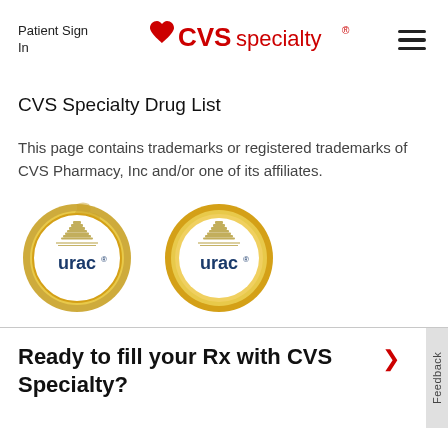Patient Sign In  ♥CVS specialty®  ≡
CVS Specialty Drug List
This page contains trademarks or registered trademarks of CVS Pharmacy, Inc and/or one of its affiliates.
[Figure (logo): Two URAC certification seals/badges with gold borders and blue URAC text]
Ready to fill your Rx with CVS Specialty?